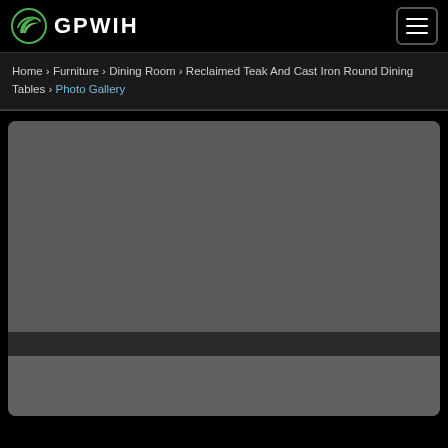GPWIH
Home › Furniture › Dining Room › Reclaimed Teak And Cast Iron Round Dining Tables › Photo Gallery
[Figure (photo): Large gray placeholder photo gallery area with a dark caption bar strip across the lower portion, all within a rounded rectangle container on a dark background.]